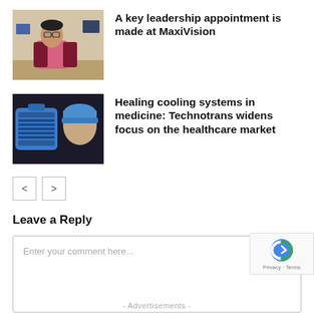[Figure (photo): Man in pink shirt and maroon blazer seated at a desk with monitors in background]
A key leadership appointment is made at MaxiVision
[Figure (photo): Blue cooling device (medical helmet/pad) alongside a mannequin head wearing a blue cap]
Healing cooling systems in medicine: Technotrans widens focus on the healthcare market
Leave a Reply
Enter your comment here...
- Advertisements -